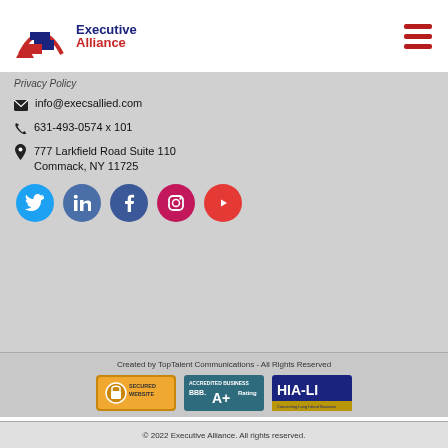[Figure (logo): Executive Alliance logo with stylized A shape in navy/red and arch, with text 'Executive Alliance' in navy and dark red]
Privacy Policy
info@execsallied.com
631-493-0574 x 101
777 Larkfield Road Suite 110
Commack, NY 11725
[Figure (infographic): Social media icons row: Twitter (blue), LinkedIn (steel blue), Facebook (dark blue), Instagram (pink/magenta), YouTube (red)]
Created by TopTalent Communications - All Rights Reserved
[Figure (infographic): Three trust badges: Secured Website badge (gold/orange), BBB Accredited Business A+ Rating badge (blue/teal), HIA-LI Hauppauge Industrial Association of Long Island badge (navy/gold)]
© 2022 Executive Alliance. All rights reserved.